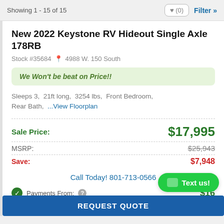Showing 1 - 15 of 15
New 2022 Keystone RV Hideout Single Axle 178RB
Stock #35684  4988 W. 150 South
We Won't be beat on Price!!
Sleeps 3,  21ft long,  3254 lbs,  Front Bedroom,  Rear Bath,  ...View Floorplan
Sale Price: $17,995
MSRP: $25,943
Save: $7,948
Call Today! 801-713-0566
Payments From: $16...
REQUEST QUOTE